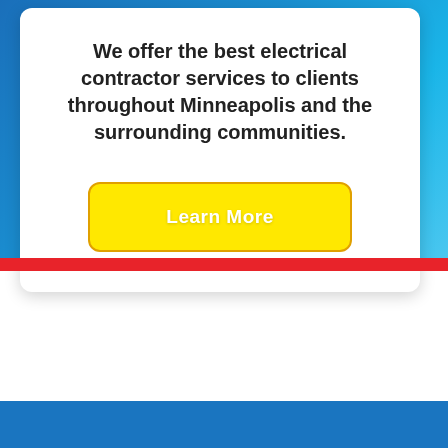We offer the best electrical contractor services to clients throughout Minneapolis and the surrounding communities.
[Figure (other): Yellow rounded button with white bold text reading 'Learn More', outlined with an orange-yellow border]